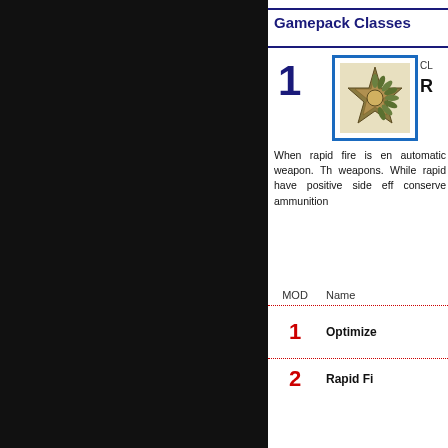Gamepack Classes
1
CLASS
R
When rapid fire is enabled on an automatic weapon. The weapons. While rapid have positive side eff conserve ammunition
| MOD | Name |
| --- | --- |
| 1 | Optimized |
| 2 | Rapid Fi... |